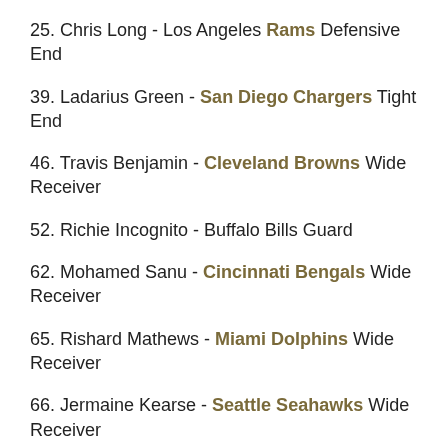25. Chris Long - Los Angeles Rams Defensive End
39. Ladarius Green - San Diego Chargers Tight End
46. Travis Benjamin - Cleveland Browns Wide Receiver
52. Richie Incognito - Buffalo Bills Guard
62. Mohamed Sanu - Cincinnati Bengals Wide Receiver
65. Rishard Mathews - Miami Dolphins Wide Receiver
66. Jermaine Kearse - Seattle Seahawks Wide Receiver
79. Patrick Robinson - San Diego Chargers